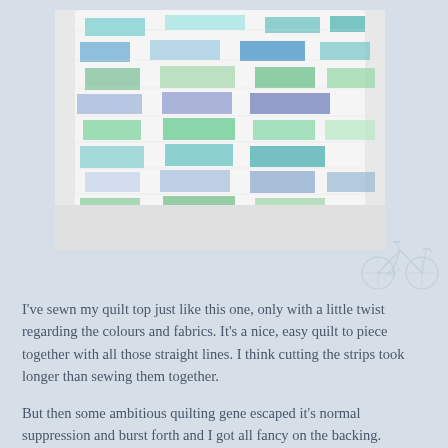[Figure (photo): A white quilt with colorful teal, blue, green, and purple rectangular fabric strips arranged in horizontal rows. A person's bare foot peeks out from under the quilt. The quilt is draped over a light surface.]
[Figure (illustration): A small faint line illustration of a bicycle in the lower right area near the photo.]
I've sewn my quilt top just like this one, only with a little twist regarding the colours and fabrics. It's a nice, easy quilt to piece together with all those straight lines. I think cutting the strips took longer than sewing them together.
But then some ambitious quilting gene escaped it's normal suppression and burst forth and I got all fancy on the backing.
And I confess I actually sewed the back before I sewed the